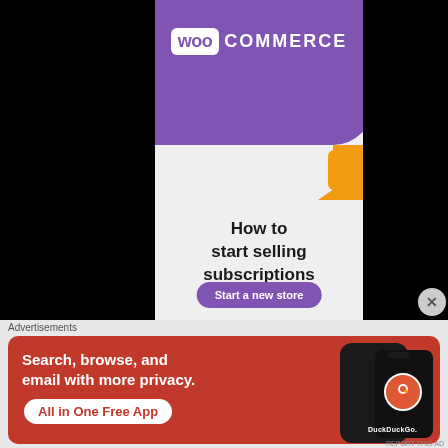[Figure (screenshot): WooCommerce advertisement showing purple header with WooCommerce logo, orange decorative shape, headline 'How to start selling subscriptions online', and a purple 'Start a new store' button on light gray background. Flanked by black areas on left and right.]
Advertisements
[Figure (screenshot): DuckDuckGo advertisement banner on red/orange background. Text: 'Search, browse, and email with more privacy. All in One Free App' with a phone image showing DuckDuckGo logo.]